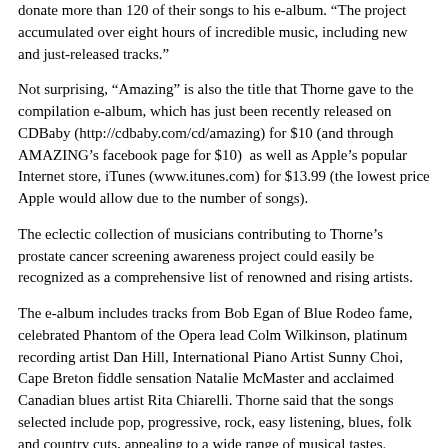donate more than 120 of their songs to his e-album. “The project accumulated over eight hours of incredible music, including new and just-released tracks.”
Not surprising, “Amazing” is also the title that Thorne gave to the compilation e-album, which has just been recently released on CDBaby (http://cdbaby.com/cd/amazing) for $10 (and through AMAZING’s facebook page for $10)  as well as Apple’s popular Internet store, iTunes (www.itunes.com) for $13.99 (the lowest price Apple would allow due to the number of songs).
The eclectic collection of musicians contributing to Thorne’s prostate cancer screening awareness project could easily be recognized as a comprehensive list of renowned and rising artists.
The e-album includes tracks from Bob Egan of Blue Rodeo fame, celebrated Phantom of the Opera lead Colm Wilkinson, platinum recording artist Dan Hill, International Piano Artist Sunny Choi, Cape Breton fiddle sensation Natalie McMaster and acclaimed Canadian blues artist Rita Chiarelli. Thorne said that the songs selected include pop, progressive, rock, easy listening, blues, folk and country cuts, appealing to a wide range of musical tastes.
Sunny Choi, who was recently listed among the top “Next Big Sound” artists by Billboard Magazine, made a special guest